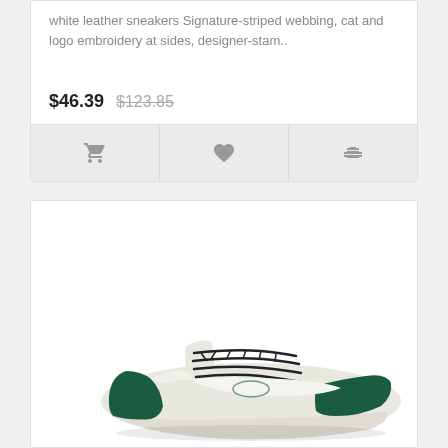white leather sneakers Signature-striped webbing, cat and logo embroidery at sides, designer-stam..
$46.39  $123.85
[Figure (screenshot): Action bar with three icon buttons: shopping cart, heart/wishlist, and compare/filter icon]
[Figure (photo): Product photo of a green and white leather sneaker shown from the side, with dark laces]